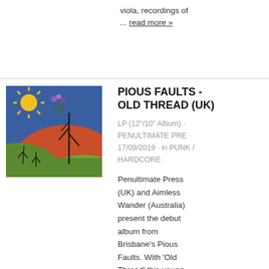viola, recordings of ... read more »
[Figure (illustration): Album cover for Pious Faults - Old Thread. Colorful illustration with hills in green, orange/red and blue sky with a yellow sunflower and purple flowers, and black stick-figure-like trees.]
PIOUS FAULTS - OLD THREAD (UK)
LP (12"/10" Album) · PENULTIMATE PRE · 17/09/2019 · in PUNK / HARDCORE
Penultimate Press (UK) and Aimless Wander (Australia) present the debut album from Brisbane's Pious Faults. With 'Old Thread' this young Australian group have crafted a remarkably lucid and original vinyl debut. A sonic